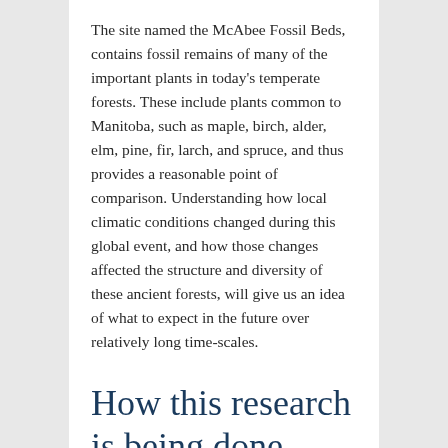The site named the McAbee Fossil Beds, contains fossil remains of many of the important plants in today's temperate forests. These include plants common to Manitoba, such as maple, birch, alder, elm, pine, fir, larch, and spruce, and thus provides a reasonable point of comparison. Understanding how local climatic conditions changed during this global event, and how those changes affected the structure and diversity of these ancient forests, will give us an idea of what to expect in the future over relatively long time-scales.
How this research is being done